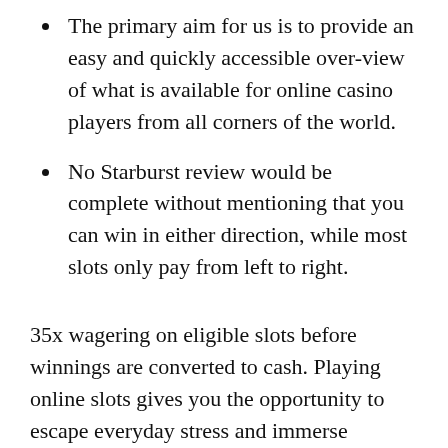The primary aim for us is to provide an easy and quickly accessible over-view of what is available for online casino players from all corners of the world.
No Starburst review would be complete without mentioning that you can win in either direction, while most slots only pay from left to right.
35x wagering on eligible slots before winnings are converted to cash. Playing online slots gives you the opportunity to escape everyday stress and immerse yourself in a world full of excitement and entertainment. As soon as you start Starburst, you will be placed in a cosmic environment. The reels are https://www.gthrapp.com/black-jack-teacher-%100-https-playclub-tr-com-baccarat-